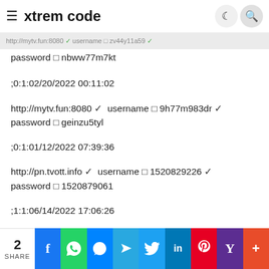xtrem code
http://mytv.fun:8080 ✔ username ▯ zv44y11a59 ✔
password ▯ nbww77m7kt
;0:1:02/20/2022 00:11:02
http://mytv.fun:8080 ✔ username ▯ 9h77m983dr ✔ password ▯ geinzu5tyl
;0:1:01/12/2022 07:39:36
http://pn.tvott.info ✔ username ▯ 1520829226 ✔ password ▯ 1520879061
;1:1:06/14/2022 17:06:26
2 SHARE | Facebook | WhatsApp | Messenger | Telegram | Twitter | LinkedIn | Pinterest | Yahoo | More